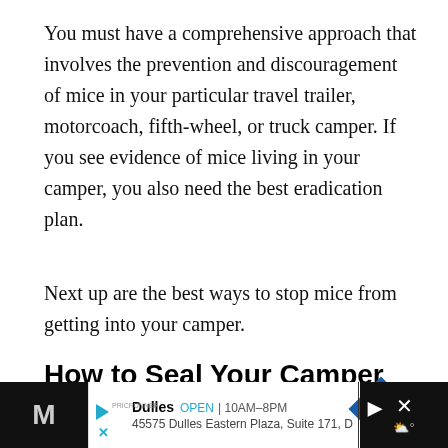You must have a comprehensive approach that involves the prevention and discouragement of mice in your particular travel trailer, motorcoach, fifth-wheel, or truck camper. If you see evidence of mice living in your camper, you also need the best eradication plan.
Next up are the best ways to stop mice from getting into your camper.
How to Seal Your Camper Against